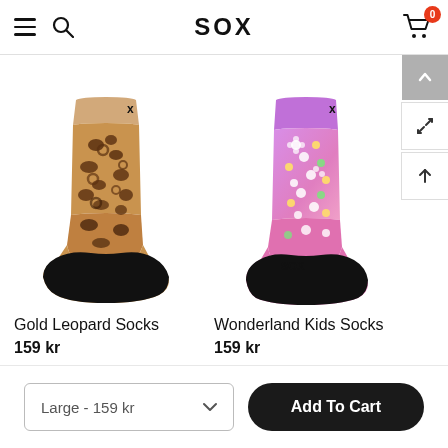SOX
[Figure (photo): Gold Leopard Socks - a crew-length sock with tan/beige base and dark brown leopard print spots, black heel and toe]
Gold Leopard Socks
159 kr
[Figure (photo): Wonderland Kids Socks - a crew-length sock with pink/purple gradient base and colorful floral pattern, black heel and toe]
Wonderland Kids Socks
159 kr
Large - 159 kr
Add To Cart